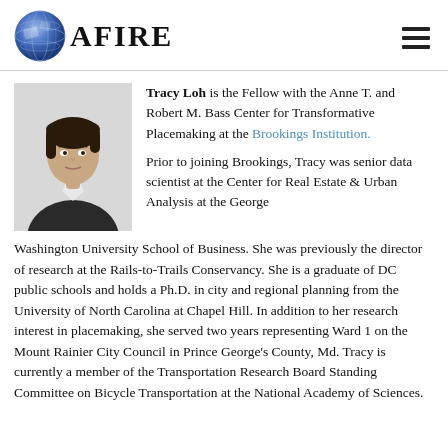AFIRE
[Figure (photo): Headshot photo of Tracy Loh, a woman with short dark hair wearing a dark vest over a white shirt, against a light gray background.]
Tracy Loh is the Fellow with the Anne T. and Robert M. Bass Center for Transformative Placemaking at the Brookings Institution.
Prior to joining Brookings, Tracy was senior data scientist at the Center for Real Estate & Urban Analysis at the George Washington University School of Business. She was previously the director of research at the Rails-to-Trails Conservancy. She is a graduate of DC public schools and holds a Ph.D. in city and regional planning from the University of North Carolina at Chapel Hill. In addition to her research interest in placemaking, she served two years representing Ward 1 on the Mount Rainier City Council in Prince George's County, Md. Tracy is currently a member of the Transportation Research Board Standing Committee on Bicycle Transportation at the National Academy of Sciences.